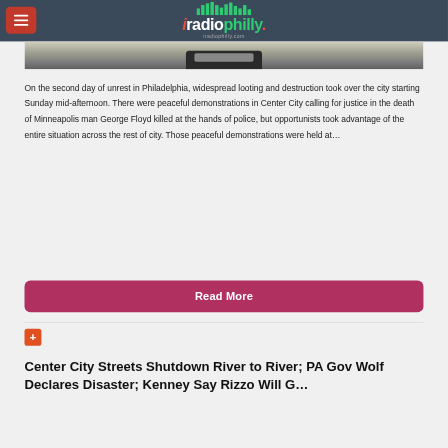iRadioPhilly - iradiophilly.com
[Figure (photo): Aerial or overhead photo showing street scene with vehicle, partially visible at top of page]
On the second day of unrest in Philadelphia, widespread looting and destruction took over the city starting Sunday mid-afternoon. There were peaceful demonstrations in Center City calling for justice in the death of Minneapolis man George Floyd killed at the hands of police, but opportunists took advantage of the entire situation across the rest of city. Those peaceful demonstrations were held at…
Read More
[Figure (other): Red/orange plus icon button]
Center City Streets Shutdown River to River; PA Gov Wolf Declares Disaster; Kenney Say Rizzo Will G…